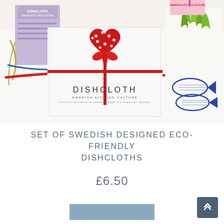[Figure (photo): Product photo showing a set of Swedish dishcloths. Center foreground: a white folded dishcloth with a large red heart and white polka dots design, tied with a red ribbon bow, branded 'DISHCLOTH SWEDISH KITCHEN CULTURE'. Left side: a purple/lavender dishcloth package with ribbon. Right side: dishcloths with green leaf/plant pattern and blue fish pattern. Colorful ribbons (red, blue, gold) are scattered on a white surface.]
SET OF SWEDISH DESIGNED ECO-FRIENDLY DISHCLOTHS
£6.50